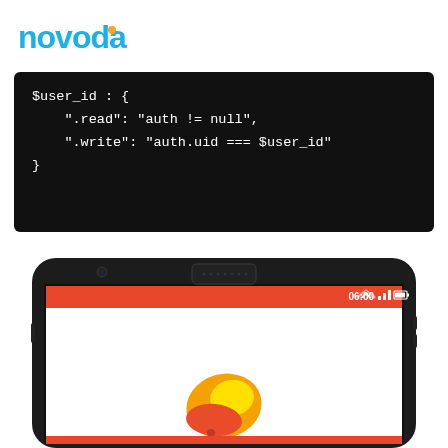[Figure (logo): Novoda logo in blue with orange dot accent]
[Figure (screenshot): Dark code block showing Firebase security rules JSON with $user_id, .read and .write properties]
[Figure (photo): Android smartphone (Nexus 5 style) showing an app with orange status bar, white screen with a flame logo icon and orange bottom section, time reads 06:00]